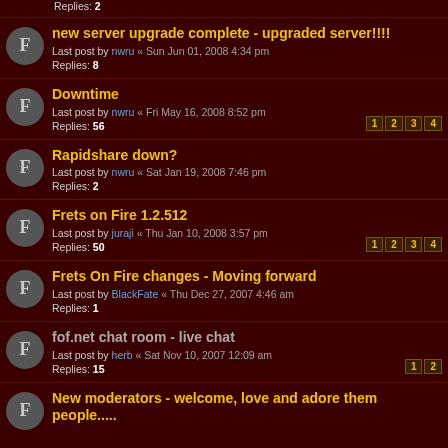Replies: 2
new server upgrade complete - upgraded server!!!!
Last post by nwru « Sun Jun 01, 2008 4:34 pm
Replies: 8
Downtime
Last post by nwru « Fri May 16, 2008 8:52 pm
Replies: 56
Pages: 1 2 3 4
Rapidshare down?
Last post by nwru « Sat Jan 19, 2008 7:46 pm
Replies: 2
Frets on Fire 1.2.512
Last post by juraji « Thu Jan 10, 2008 3:57 pm
Replies: 50
Pages: 1 2 3 4
Frets On Fire changes - Moving forward
Last post by BlackFate « Thu Dec 27, 2007 4:46 am
Replies: 1
fof.net chat room - live chat
Last post by herb « Sat Nov 10, 2007 12:09 am
Replies: 15
Pages: 1 2
New moderators - welcome, love and adore them people.....